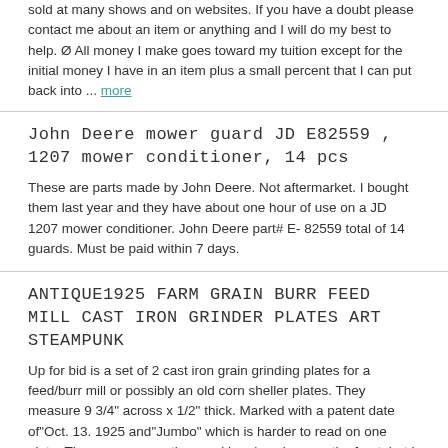sold at many shows and on websites. If you have a doubt please contact me about an item or anything and I will do my best to help. Ø All money I make goes toward my tuition except for the initial money I have in an item plus a small percent that I can put back into ... more
John Deere mower guard JD E82559 , 1207 mower conditioner, 14 pcs
These are parts made by John Deere. Not aftermarket. I bought them last year and they have about one hour of use on a JD 1207 mower conditioner. John Deere part# E- 82559 total of 14 guards. Must be paid within 7 days.
ANTIQUE1925 FARM GRAIN BURR FEED MILL CAST IRON GRINDER PLATES ART STEAMPUNK
Up for bid is a set of 2 cast iron grain grinding plates for a feed/burr mill or possibly an old corn sheller plates. They measure 9 3/4" across x 1/2" thick. Marked with a patent date of"Oct. 13. 1925 and"Jumbo" which is harder to read on one plate. There are some other markings/numbers on the front, but I can't read it. They have some chips from use on the inside edge- some rust and pitting. The patterns on the plates would make them a nice set for wall decor or use in an art project.
Power King Economy Tractor Three